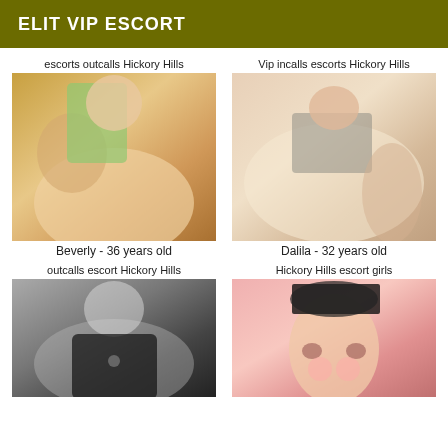ELIT VIP ESCORT
escorts outcalls Hickory Hills
[Figure (photo): Close-up photo of a woman in a green top]
Beverly - 36 years old
Vip incalls escorts Hickory Hills
[Figure (photo): Photo of a woman lying on a bed in a grey dress]
Dalila - 32 years old
outcalls escort Hickory Hills
[Figure (photo): Black and white photo of a woman in a black top]
Hickory Hills escort girls
[Figure (photo): Photo of a young Asian woman with black bangs]